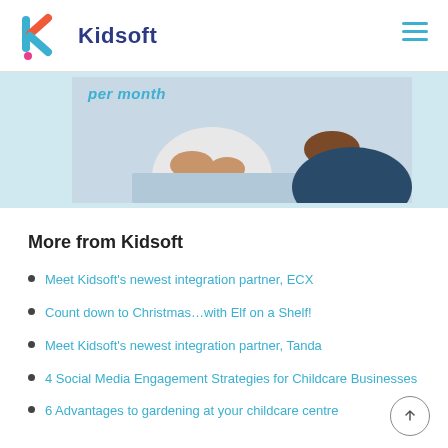Kidsoft
[Figure (photo): Photo of two people in a business meeting, hands gesturing over a desk with a laptop. Overlay text reads 'per month' in teal italic font.]
More from Kidsoft
Meet Kidsoft's newest integration partner, ECX
Count down to Christmas…with Elf on a Shelf!
Meet Kidsoft's newest integration partner, Tanda
4 Social Media Engagement Strategies for Childcare Businesses
6 Advantages to gardening at your childcare centre